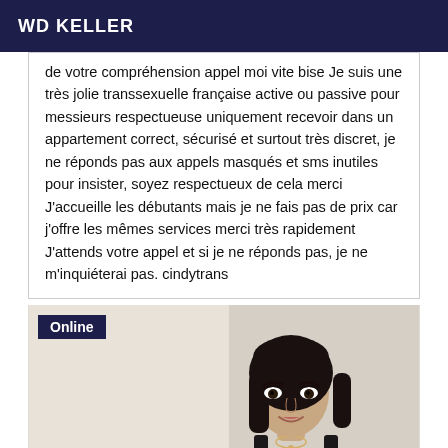WD KELLER
de votre compréhension appel moi vite bise Je suis une très jolie transsexuelle française active ou passive pour messieurs respectueuse uniquement recevoir dans un appartement correct, sécurisé et surtout très discret, je ne réponds pas aux appels masqués et sms inutiles pour insister, soyez respectueux de cela merci J'accueille les débutants mais je ne fais pas de prix car j'offre les mêmes services merci très rapidement J'attends votre appel et si je ne réponds pas, je ne m'inquiéterai pas. cindytrans
[Figure (photo): Photo of a woman with dark hair, smiling, wearing a dark strap top. An 'Online' badge is overlaid in the top left corner.]